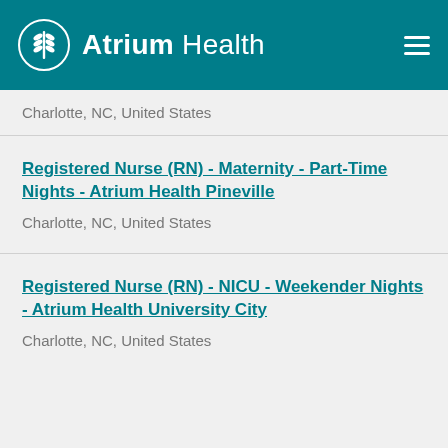Atrium Health
Charlotte, NC, United States
Registered Nurse (RN) - Maternity - Part-Time Nights - Atrium Health Pineville
Charlotte, NC, United States
Registered Nurse (RN) - NICU - Weekender Nights - Atrium Health University City
Charlotte, NC, United States